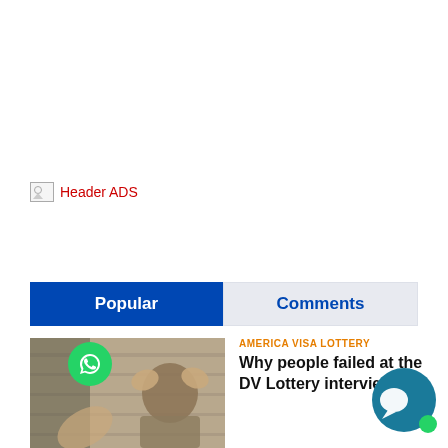[Figure (other): Broken image placeholder labeled 'Header ADS' in red text]
Popular | Comments
[Figure (photo): Person holding their head in distress, sepia-toned photo]
AMERICA VISA LOTTERY
Why people failed at the DV Lottery interviews?